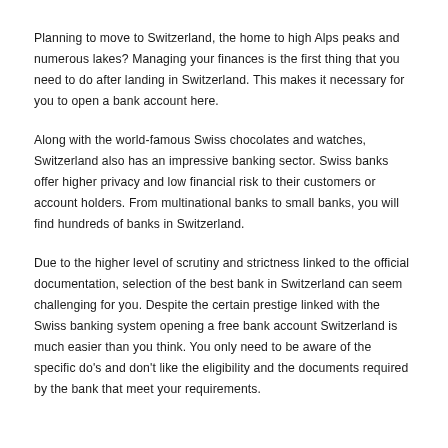Planning to move to Switzerland, the home to high Alps peaks and numerous lakes? Managing your finances is the first thing that you need to do after landing in Switzerland. This makes it necessary for you to open a bank account here.
Along with the world-famous Swiss chocolates and watches, Switzerland also has an impressive banking sector. Swiss banks offer higher privacy and low financial risk to their customers or account holders. From multinational banks to small banks, you will find hundreds of banks in Switzerland.
Due to the higher level of scrutiny and strictness linked to the official documentation, selection of the best bank in Switzerland can seem challenging for you. Despite the certain prestige linked with the Swiss banking system opening a free bank account Switzerland is much easier than you think. You only need to be aware of the specific do's and don't like the eligibility and the documents required by the bank that meet your requirements.